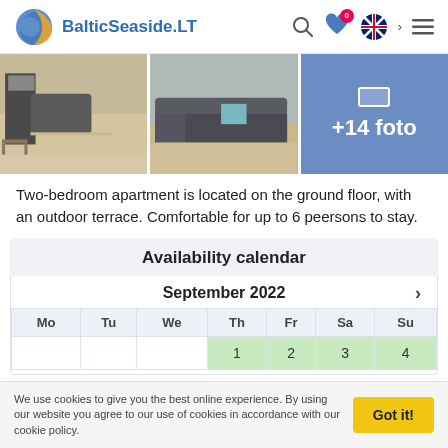BalticSeaside.LT
[Figure (photo): Interior apartment photos showing living areas with hardwood floors and sofas, plus a blue tile with '+14 foto']
Two-bedroom apartment is located on the ground floor, with an outdoor terrace. Comfortable for up to 6 peersons to stay.
Availability calendar
| Mo | Tu | We | Th | Fr | Sa | Su |
| --- | --- | --- | --- | --- | --- | --- |
|  |  |  | 1 | 2 | 3 | 4 |
We use cookies to give you the best online experience. By using our website you agree to our use of cookies in accordance with our cookie policy.